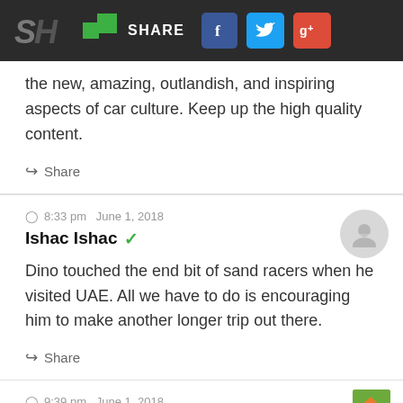SH | SHARE [Facebook] [Twitter] [Google+]
the new, amazing, outlandish, and inspiring aspects of car culture. Keep up the high quality content.
Share
8:33 pm  June 1, 2018
Ishac Ishac ✓
Dino touched the end bit of sand racers when he visited UAE. All we have to do is encouraging him to make another longer trip out there.
Share
9:39 pm  June 1, 2018